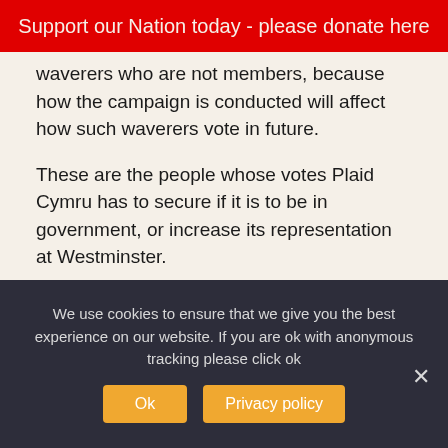Support our Nation today - please donate here
waverers who are not members, because how the campaign is conducted will affect how such waverers vote in future.
These are the people whose votes Plaid Cymru has to secure if it is to be in government, or increase its representation at Westminster.
Integrity
I should say us waverers, because I am effectively one of them, even though I am currently a member of Plaid Cymru. I have always been broadly
We use cookies to ensure that we give you the best experience on our website. If you are ok with anonymous tracking please click ok